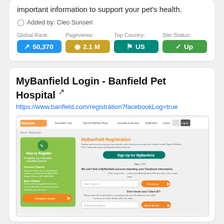important information to support your pet's health.
Added by: Cleo Sunseri
Global Rank: 50,370
Pageviews: 2.1 M
Top Country: US
Site Status: Up
MyBanfield Login - Banfield Pet Hospital
https://www.banfield.com/registration?facebookLog=true
[Figure (screenshot): Screenshot of MyBanfield Registration page on banfield.com]
Register now to receive timely pet care reminders, plus